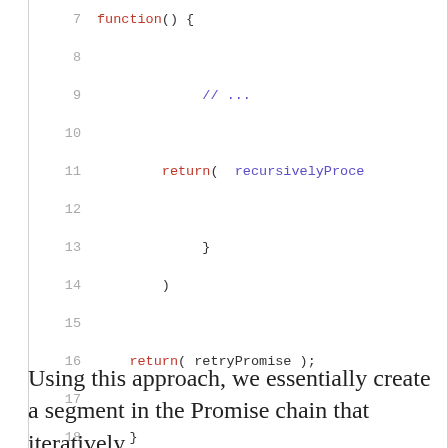[Figure (screenshot): Code block showing lines 7-19 of recursive.js with syntax highlighting. Line 7: function() {, Line 8: empty, Line 9: // ..., Line 10: empty, Line 11: return( recursivelyProce..., Line 12: empty, Line 13: }, Line 14: ), Line 15: empty, Line 16: return( retryPromise );, Line 17: empty, Line 18: }, Line 19: ). Footer shows 'recursive.js hosted with heart by GitHub' and 'view raw'.]
Using this approach, we essentially create a segment in the Promise chain that iteratively